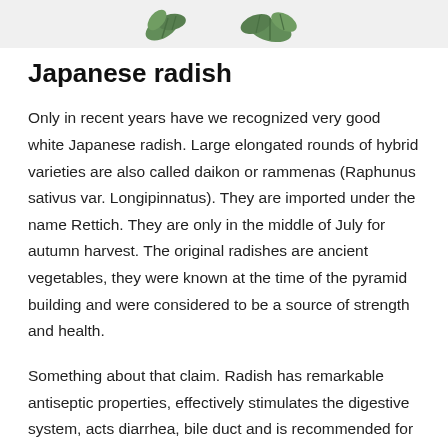[Figure (photo): Partial view of Japanese radish / daikon plants or leaves at the top of the page]
Japanese radish
Only in recent years have we recognized very good white Japanese radish. Large elongated rounds of hybrid varieties are also called daikon or rammenas (Raphunus sativus var. Longipinnatus). They are imported under the name Rettich. They are only in the middle of July for autumn harvest. The original radishes are ancient vegetables, they were known at the time of the pyramid building and were considered to be a source of strength and health.
Something about that claim. Radish has remarkable antiseptic properties, effectively stimulates the digestive system, acts diarrhea, bile duct and is recommended for